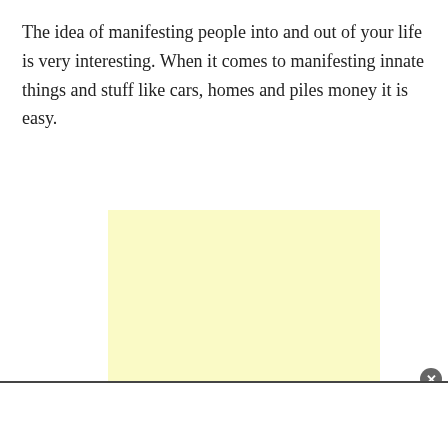The idea of manifesting people into and out of your life is very interesting. When it comes to manifesting innate things and stuff like cars, homes and piles money it is easy.
[Figure (other): A light yellow rectangular advertisement placeholder box]